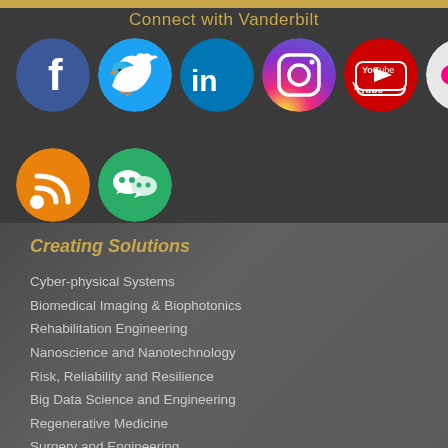Connect with Vanderbilt
[Figure (illustration): Social media icons: Facebook, Twitter, LinkedIn, Instagram, YouTube, Flickr, Tumblr, RSS, WeChat]
Creating Solutions
Cyber-physical Systems
Biomedical Imaging & Biophotonics
Rehabilitation Engineering
Nanoscience and Nanotechnology
Risk, Reliability and Resilience
Big Data Science and Engineering
Regenerative Medicine
Surgery and Engineering
Energy and Natural Resources